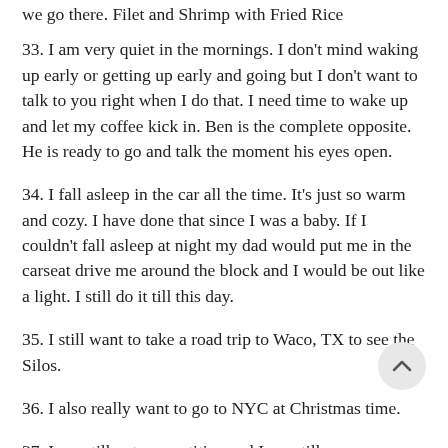we go there. Filet and Shrimp with Fried Rice
33. I am very quiet in the mornings. I don't mind waking up early or getting up early and going but I don't want to talk to you right when I do that. I need time to wake up and let my coffee kick in. Ben is the complete opposite. He is ready to go and talk the moment his eyes open.
34. I fall asleep in the car all the time. It's just so warm and cozy. I have done that since I was a baby. If I couldn't fall asleep at night my dad would put me in the carseat drive me around the block and I would be out like a light. I still do it till this day.
35. I still want to take a road trip to Waco, TX to see the Silos.
36. I also really want to go to NYC at Christmas time.
37. I am still not competitive and I am still very impatient.
38. We once asked that I bete setting in the bale, I have not in